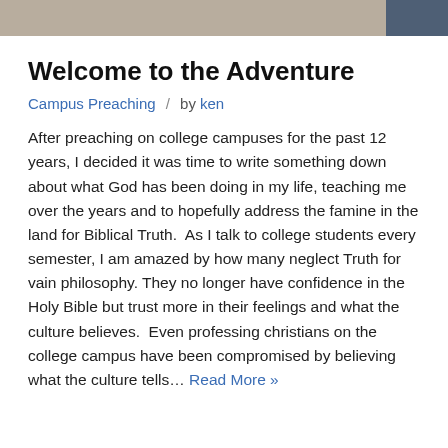[Figure (photo): Top strip showing a partial outdoor photo with gravel/dirt ground and a person's legs in jeans on the right side]
Welcome to the Adventure
Campus Preaching  /  by ken
After preaching on college campuses for the past 12 years, I decided it was time to write something down about what God has been doing in my life, teaching me over the years and to hopefully address the famine in the land for Biblical Truth.  As I talk to college students every semester, I am amazed by how many neglect Truth for vain philosophy. They no longer have confidence in the Holy Bible but trust more in their feelings and what the culture believes.  Even professing christians on the college campus have been compromised by believing what the culture tells… Read More »